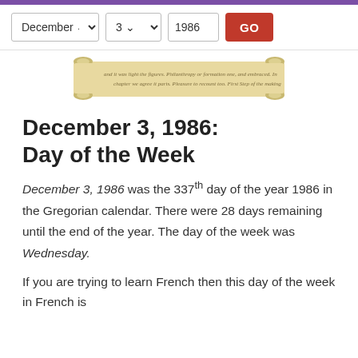[Figure (illustration): A decorative scroll image with handwritten-style cursive text on aged parchment paper, curled at the top and bottom edges.]
December 3, 1986: Day of the Week
December 3, 1986 was the 337th day of the year 1986 in the Gregorian calendar. There were 28 days remaining until the end of the year. The day of the week was Wednesday.
If you are trying to learn French then this day of the week in French is